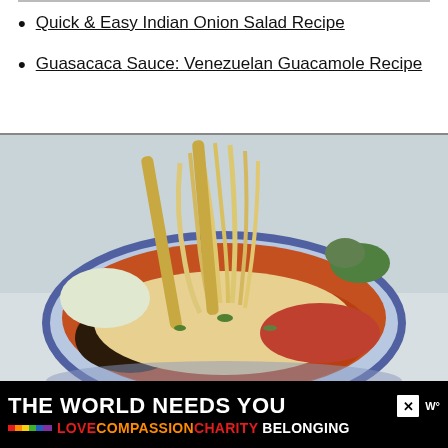Quick & Easy Indian Onion Salad Recipe
Guasacaca Sauce: Venezuelan Guacamole Recipe
[Figure (photo): A bowl of noodle soup with chopsticks lifting noodles, garnished with green onions and cilantro, with ground meat in a reddish broth, served in a blue and white ceramic bowl.]
[Figure (infographic): Advertisement banner: 'THE WORLD NEEDS YOU' in white bold text on black background with a rainbow strip, followed by 'LOVE COMPASSION CHARITY BELONGING' in colored text.]